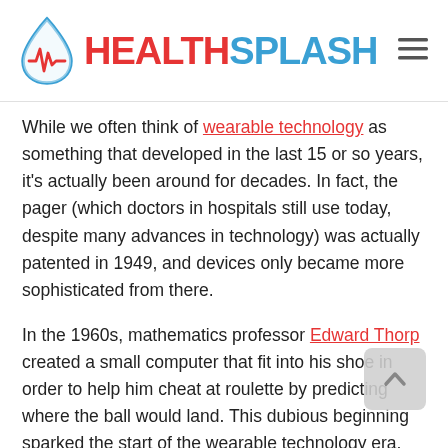HEALTHSPLASH
While we often think of wearable technology as something that developed in the last 15 or so years, it's actually been around for decades. In fact, the pager (which doctors in hospitals still use today, despite many advances in technology) was actually patented in 1949, and devices only became more sophisticated from there.
In the 1960s, mathematics professor Edward Thorp created a small computer that fit into his shoe in order to help him cheat at roulette by predicting where the ball would land. This dubious beginning sparked the start of the wearable technology era, and the calculator wristwatch made its debut shortly thereafter, in 1975. Four years later, the Sony Walkman was released and digital hearing aids arrived just a few years after that in the 1980s.
After the turn of the millennium, many iconic wearable devices the…